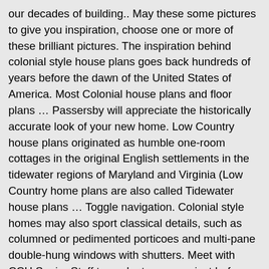our decades of building.. May these some pictures to give you inspiration, choose one or more of these brilliant pictures. The inspiration behind colonial style house plans goes back hundreds of years before the dawn of the United States of America. Most Colonial house plans and floor plans … Passersby will appreciate the historically accurate look of your new home. Low Country house plans originated as humble one-room cottages in the original English settlements in the tidewater regions of Maryland and Virginia (Low Country home plans are also called Tidewater house plans … Toggle navigation. Colonial style homes may also sport classical details, such as columned or pedimented porticoes and multi-pane double-hung windows with shutters. Meet with CCH Senior Staff to evaluate your project before design work begins. The most typical feature of Colonial house plans is symmetry - specifically, a centered front door flanked by a balanced arrangement of windows. New England Colonial House Plans The New England colonial home has been a popular style in the U.S. since the early 18th century. Learn about the Colonial house, its history, our plans, and the results of our decades of… Colonial House